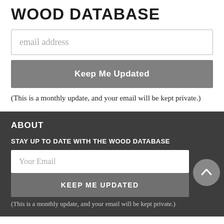WOOD DATABASE
email address
Keep Me Updated
(This is a monthly update, and your email will be kept private.)
ABOUT
STAY UP TO DATE WITH THE WOOD DATABASE
Your Email
KEEP ME UPDATED
(This is a monthly update, and your email will be kept private.)